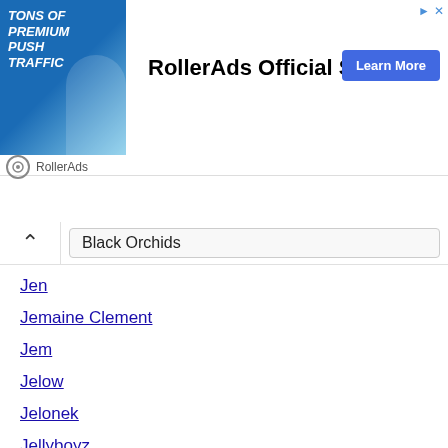[Figure (infographic): RollerAds advertisement banner with a woman image, 'TONS OF PREMIUM PUSH TRAFFIC' text, 'RollerAds Official Site' heading, and 'Learn More' button. RollerAds logo and name at bottom.]
Black Orchids
Jen
Jemaine Clement
Jem
Jelow
Jelonek
Jellyboyz
Jellybean
Jelly For The Babies